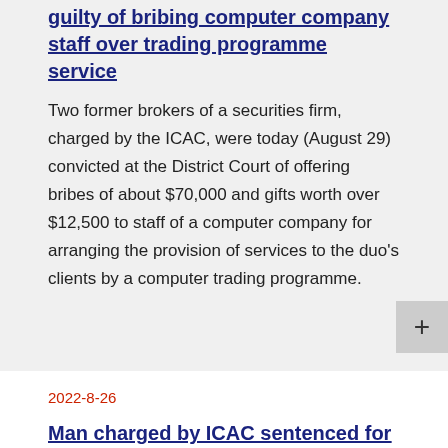guilty of bribing computer company staff over trading programme service
Two former brokers of a securities firm, charged by the ICAC, were today (August 29) convicted at the District Court of offering bribes of about $70,000 and gifts worth over $12,500 to staff of a computer company for arranging the provision of services to the duo's clients by a computer trading programme.
2022-8-26
Man charged by ICAC sentenced for breaching ECICO by inciting others to cast blank votes at LegCo Election
A man, charged by the ICAC, was today (August 26,